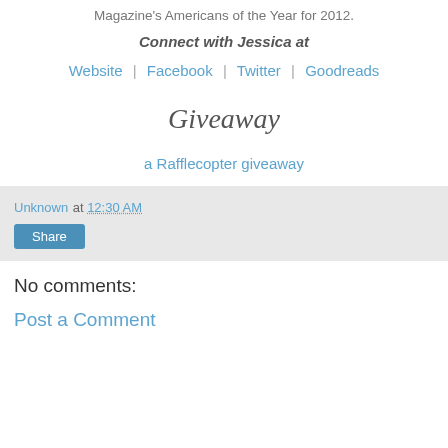Magazine's Americans of the Year for 2012.
Connect with Jessica at
Website | Facebook | Twitter | Goodreads
Giveaway
a Rafflecopter giveaway
Unknown at 12:30 AM
Share
No comments:
Post a Comment